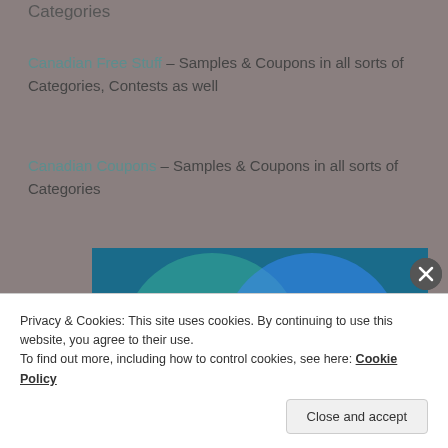Categories
Canadian Free Stuff – Samples & Coupons in all sorts of Categories, Contests as well
Canadian Coupons – Samples & Coupons in all sorts of Categories
[Figure (illustration): Advertisement banner showing two overlapping circles on a blue/teal background with text 'Everything you need' and 'Anything you want']
Privacy & Cookies: This site uses cookies. By continuing to use this website, you agree to their use.
To find out more, including how to control cookies, see here: Cookie Policy
Close and accept